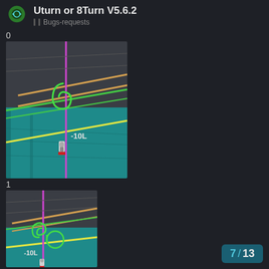Uturn or 8Turn V5.6.2 | Bugs-requests
0
[Figure (screenshot): Game screenshot showing a bird's-eye view racing/driving game with teal ground, yellow and orange lane lines, a magenta vertical line, a green U-turn path indicator, and a small vehicle sprite with text '-10L']
1
[Figure (screenshot): Second game screenshot similar to first but showing a different turn shape (loop/lollipop), again with magenta line, green path, yellow lane markings, and '-10L' label]
7 / 13